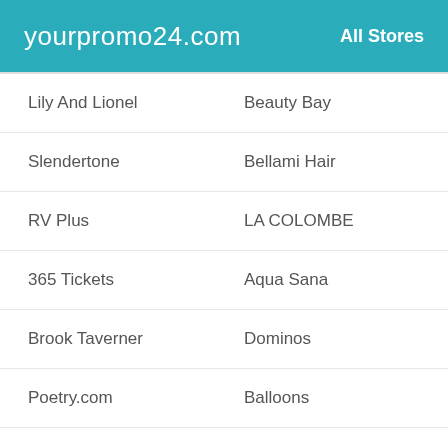yourpromo24.com   All Stores
Lily And Lionel
Beauty Bay
Slendertone
Bellami Hair
RV Plus
LA COLOMBE
365 Tickets
Aqua Sana
Brook Taverner
Dominos
Poetry.com
Balloons
TRUE&CO
Sears
True Religion
Blomdahlusa